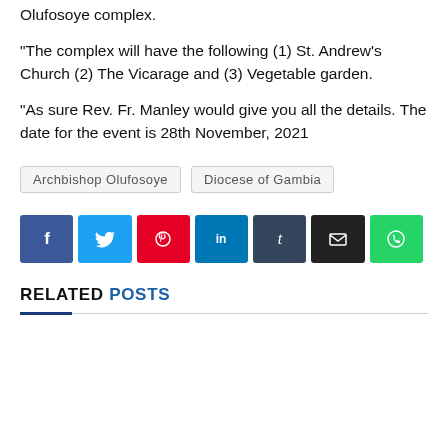Olufosoye complex.
“The complex will have the following (1) St. Andrew’s Church (2) The Vicarage and (3) Vegetable garden.
“As sure Rev. Fr. Manley would give you all the details. The date for the event is 28th November, 2021
Archbishop Olufosoye   Diocese of Gambia
[Figure (infographic): Social media share buttons: Facebook (blue), Twitter (light blue), Pinterest (red), LinkedIn (teal), Tumblr (dark slate), Email (black), WhatsApp (green)]
RELATED POSTS